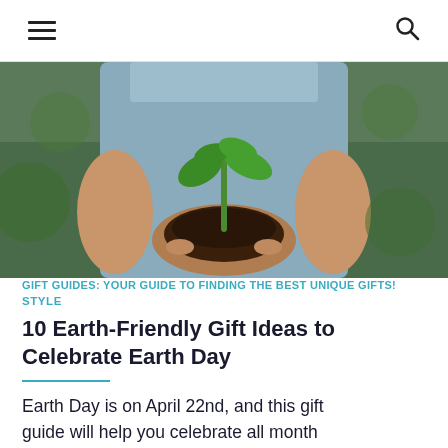≡  🔍
[Figure (photo): A person in a light blue dress holding a small green plant seedling growing from dark soil cupped in their hands. The background is blurred greenery.]
GIFT GUIDES: YOUR GUIDE TO FINDING THE BEST UNIQUE GIFTS!
STYLE
10 Earth-Friendly Gift Ideas to Celebrate Earth Day
Earth Day is on April 22nd, and this gift guide will help you celebrate all month